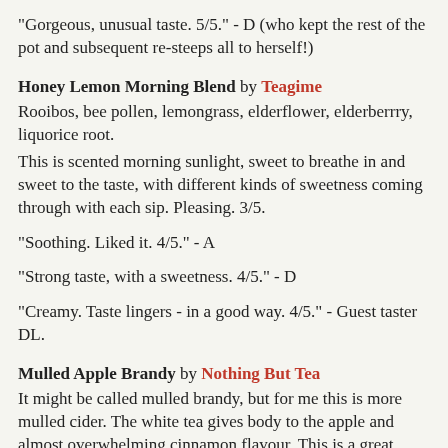"Gorgeous, unusual taste. 5/5." - D (who kept the rest of the pot and subsequent re-steeps all to herself!)
Honey Lemon Morning Blend by Teagime
Rooibos, bee pollen, lemongrass, elderflower, elderberry, liquorice root.
This is scented morning sunlight, sweet to breathe in and sweet to the taste, with different kinds of sweetness coming through with each sip. Pleasing. 3/5.
"Soothing. Liked it. 4/5." - A
"Strong taste, with a sweetness. 4/5." - D
"Creamy. Taste lingers - in a good way. 4/5." - Guest taster DL.
Mulled Apple Brandy by Nothing But Tea
It might be called mulled brandy, but for me this is more mulled cider. The white tea gives body to the apple and almost overwhelming cinnamon flavour. This is a great warming brew, and I wonder if it might also be nice as iced-tea, or cold-brewed,